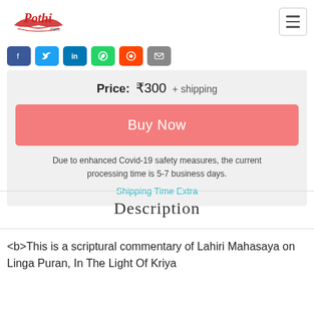Pothi.com
[Figure (logo): Pothi.com logo with red cursive text and red bird/book graphic]
Price: ₹300 + shipping
Buy Now
Due to enhanced Covid-19 safety measures, the current processing time is 5-7 business days.
Shipping Time Extra
Description
<b>This is a scriptural commentary of Lahiri Mahasaya on Linga Puran, In The Light Of Kriya